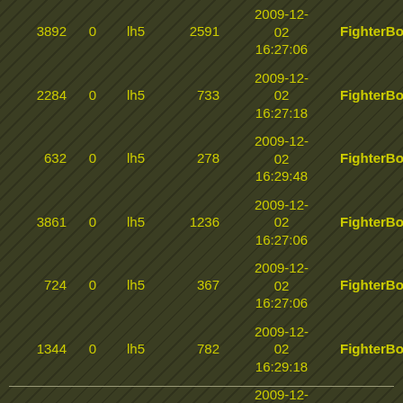| id | flag | type | value | datetime | category |
| --- | --- | --- | --- | --- | --- |
| 3892 | 0 | lh5 | 2591 | 2009-12-02 16:27:06 | FighterBom... |
| 2284 | 0 | lh5 | 733 | 2009-12-02 16:27:18 | FighterBom... |
| 632 | 0 | lh5 | 278 | 2009-12-02 16:29:48 | FighterBom... |
| 3861 | 0 | lh5 | 1236 | 2009-12-02 16:27:06 | FighterBom... |
| 724 | 0 | lh5 | 367 | 2009-12-02 16:27:06 | FighterBom... |
| 1344 | 0 | lh5 | 782 | 2009-12-02 16:29:18 | FighterBom... |
| 2050 | 0 | lh5 | 1584 | 2009-12-02 16:27:06 | FighterBom... |